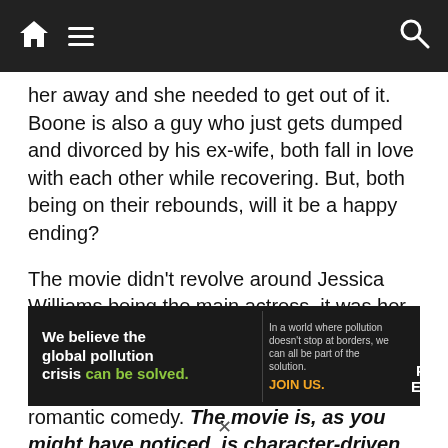Navigation bar with home, menu, and search icons
her away and she needed to get out of it. Boone is also a guy who just gets dumped and divorced by his ex-wife, both fall in love with each other while recovering. But, both being on their rebounds, will it be a happy ending?
The movie didn't revolve around Jessica Williams being the main actress, it was her movie. She perfectly delivers her role and elevates this entire movie from a girl crying after her breakup to making it a fantastic romantic comedy. The movie is, as you might have noticed, is character-driven and not so big on storytelling. Of course, that is
[Figure (other): Pure Earth advertisement banner: 'We believe the global pollution crisis can be solved. In a world where pollution doesn't stop at borders, we can all be part of the solution. JOIN US.' with Pure Earth logo.]